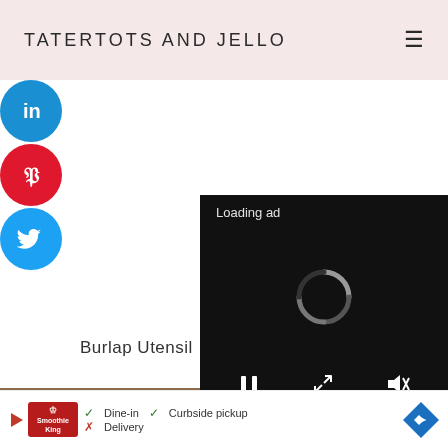TATERTOTS AND JELLO
[Figure (screenshot): Social media share buttons: LinkedIn (blue), Pinterest (red), Twitter (blue) circular icons on left sidebar]
Burlap Utensil
[Figure (screenshot): Video player overlay showing Loading ad with spinner and playback controls on black background]
[Figure (photo): Photo of a rustic table setting with white plates and glassware]
[Figure (screenshot): Bottom advertisement banner for Smoothie King showing Dine-in, Curbside pickup checkmarks and Delivery with X mark]